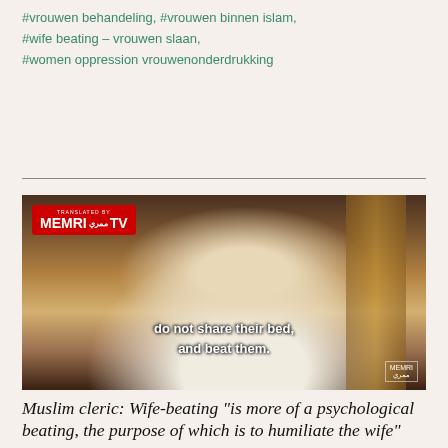#vrouwen behandeling, #vrouwen binnen islam,
#wife beating – vrouwen slaan,
#women oppression vrouwenonderdrukking
[Figure (screenshot): Video screenshot from MEMRI TV showing a Muslim cleric in white traditional dress seated at a table with a microphone. Subtitle reads: 'do not share their bed, and beat them.' MEMRI TV logo in top-left corner.]
Muslim cleric: Wife-beating "is more of a psychological beating, the purpose of which is to humiliate the wife"